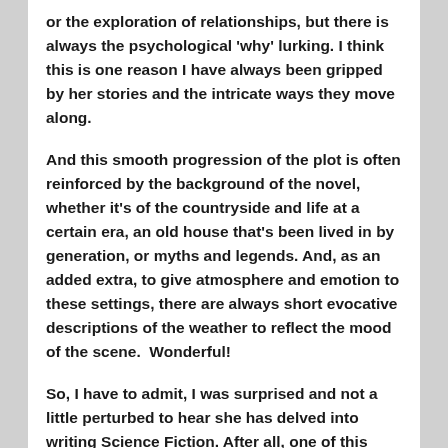or the exploration of relationships, but there is always the psychological 'why' lurking. I think this is one reason I have always been gripped by her stories and the intricate ways they move along.
And this smooth progression of the plot is often reinforced by the background of the novel, whether it's of the countryside and life at a certain era, an old house that's been lived in by generation, or myths and legends. And, as an added extra, to give atmosphere and emotion to these settings, there are always short evocative descriptions of the weather to reflect the mood of the scene.  Wonderful!
So, I have to admit, I was surprised and not a little perturbed to hear she has delved into writing Science Fiction. After all, one of this author's greatest qualities is her innate ability to bring setting to life, by just a line or two of description that instantly evokes a sense of place and an immediacy to the background that her characters move around in.